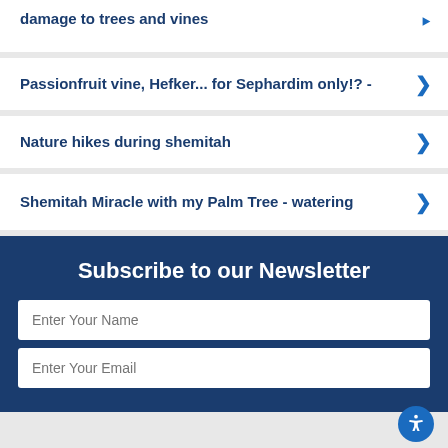damage to trees and vines
Passionfruit vine, Hefker... for Sephardim only!? -
Nature hikes during shemitah
Shemitah Miracle with my Palm Tree - watering
Subscribe to our Newsletter
Enter Your Name
Enter Your Email